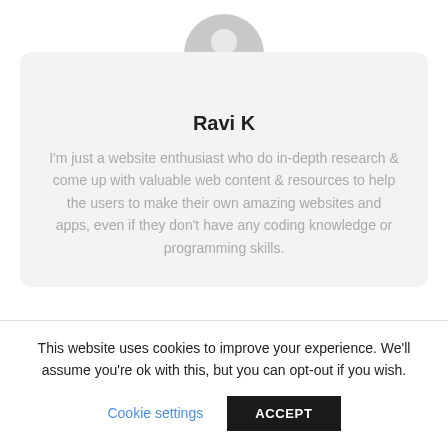[Figure (illustration): User profile avatar: a gray circular silhouette of a person, with a small dark circular edit/pencil badge at the bottom-right of the avatar.]
Ravi K
I'm just a website enthusiast who do in-depth research & come up with valuable web content & resources to help the users to make their own amazing websites and apps, even if they don't have any coding knowledge or programming skills.
This website uses cookies to improve your experience. We'll assume you're ok with this, but you can opt-out if you wish.
Cookie settings
ACCEPT